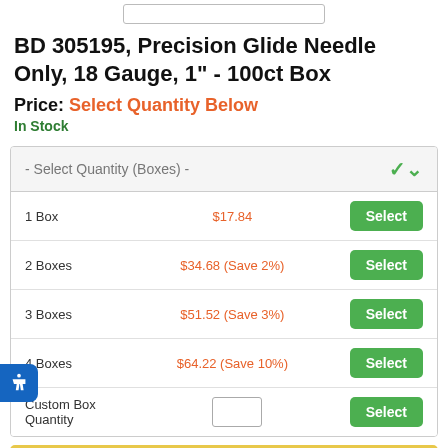BD 305195, Precision Glide Needle Only, 18 Gauge, 1" - 100ct Box
Price: Select Quantity Below
In Stock
| Quantity | Price | Action |
| --- | --- | --- |
| 1 Box | $17.84 | Select |
| 2 Boxes | $34.68 (Save 2%) | Select |
| 3 Boxes | $51.52 (Save 3%) | Select |
| 4 Boxes | $64.22 (Save 10%) | Select |
| Custom Box Quantity |  | Select |
Add To My Cart (AutoReorder)